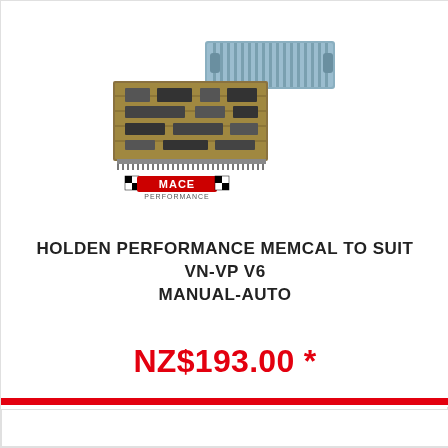[Figure (photo): Product photo showing two Holden VN-VP V6 Memcal chips (a gold circuit board chip and a blue rectangular chip) with the MACE Performance logo below them]
HOLDEN PERFORMANCE MEMCAL TO SUIT VN-VP V6 MANUAL-AUTO
NZ$193.00 *